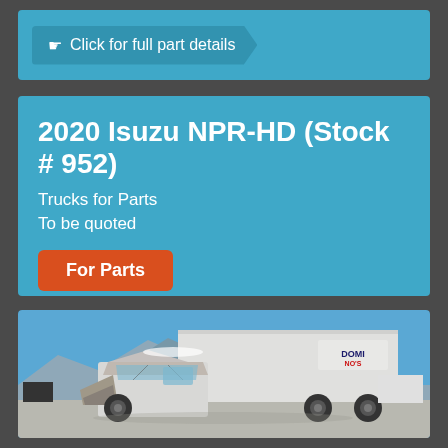Click for full part details
2020 Isuzu NPR-HD (Stock # 952)
Trucks for Parts
To be quoted
For Parts
[Figure (photo): A severely damaged 2020 Isuzu NPR-HD box truck with crushed cab, white exterior with a box cargo area branded 'Domino's', photographed outdoors in a snowy/cold environment with mountains and blue sky in background.]